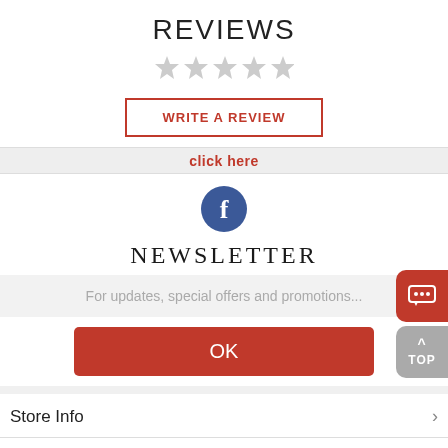REVIEWS
[Figure (illustration): Five empty/grey star rating icons in a row]
WRITE A REVIEW
click here
[Figure (illustration): Facebook circular icon (blue with white f)]
NEWSLETTER
For updates, special offers and promotions...
OK
Store Info
2Fdeal Policy